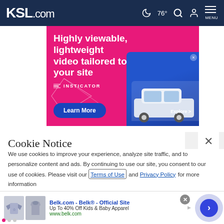KSL.com  76°  MENU
[Figure (screenshot): Insticator advertisement banner with pink/magenta background showing 'Highly viewable, lightweight video tailored to your site' with Learn More button and car image on blue card]
Cookie Notice
We use cookies to improve your experience, analyze site traffic, and to personalize content and ads. By continuing to use our site, you consent to our use of cookies. Please visit our Terms of Use and  Privacy Policy for more information
[Figure (screenshot): Belk.com advertisement showing 'Belk - Belk® - Official Site', 'Up To 40% Off Kids & Baby Apparel', 'www.belk.com' with children's clothing images and navigation arrow]